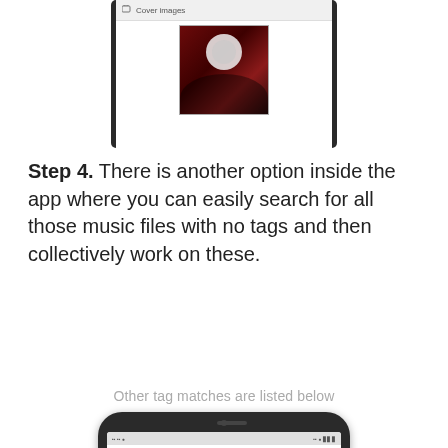[Figure (screenshot): Top portion of a mobile phone screenshot showing a 'Cover images' screen with a dark red/maroon album art image]
Step 4. There is another option inside the app where you can easily search for all those music files with no tags and then collectively work on these.
Other tag matches are listed below
[Figure (screenshot): Mobile phone screenshot showing a music tag editor interface with 'Gravity' as song title and 'Josh Woodward' as artist, with a 'Gravity.mp3' file listed below]